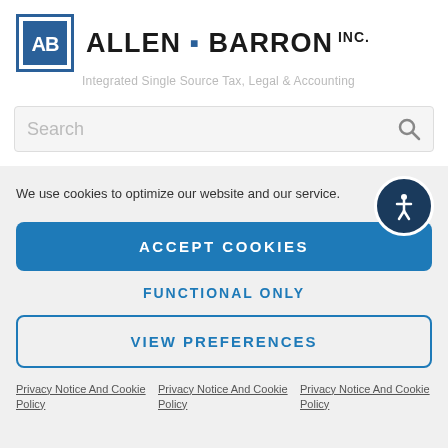[Figure (logo): Allen Barron Inc. logo with AB initials in a blue bordered box]
ALLEN · BARRON INC.
Integrated Single Source Tax, Legal & Accounting
Search
We use cookies to optimize our website and our service.
ACCEPT COOKIES
FUNCTIONAL ONLY
VIEW PREFERENCES
Privacy Notice And Cookie Policy
Privacy Notice And Cookie Policy
Privacy Notice And Cookie Policy